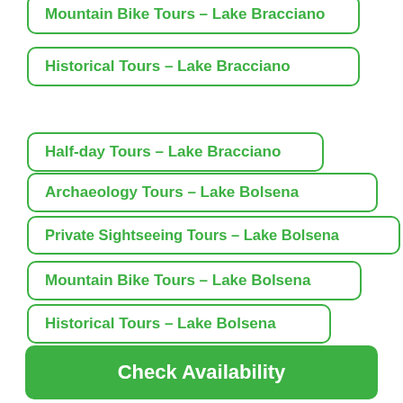Mountain Bike Tours - Lake Bracciano
Historical Tours - Lake Bracciano
Half-day Tours - Lake Bracciano
Archaeology Tours - Lake Bolsena
Private Sightseeing Tours - Lake Bolsena
Mountain Bike Tours - Lake Bolsena
Historical Tours - Lake Bolsena
Half-day Tours - Lake Bolsena
Check Availability